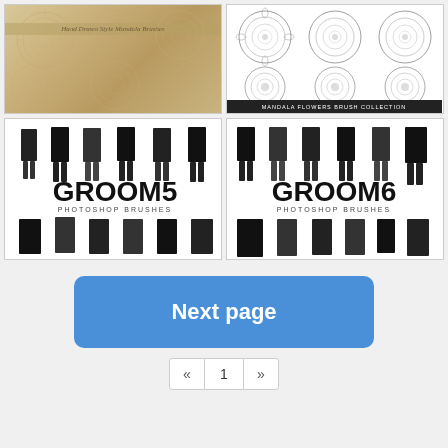[Figure (illustration): Hand drawn style mandala brushes on beige/gold textured background with multiple mandala circles]
[Figure (illustration): Mandala flowers brush collection on white background showing 6 detailed mandala flower designs in a grid]
[Figure (illustration): Groom5 Photoshop Brushes - black and white illustration showing multiple headless male suit/tuxedo figures]
[Figure (illustration): Groom6 Photoshop Brushes - black and white illustration showing multiple headless male suit/tuxedo figures]
Next page
1